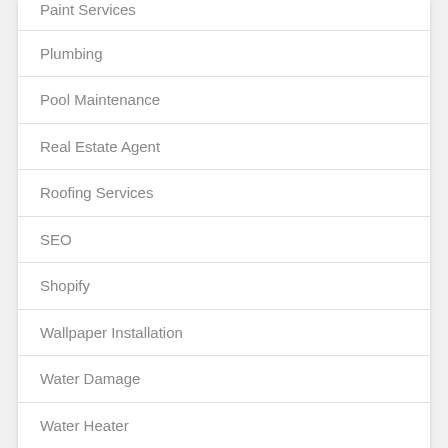Paint Services
Plumbing
Pool Maintenance
Real Estate Agent
Roofing Services
SEO
Shopify
Wallpaper Installation
Water Damage
Water Heater